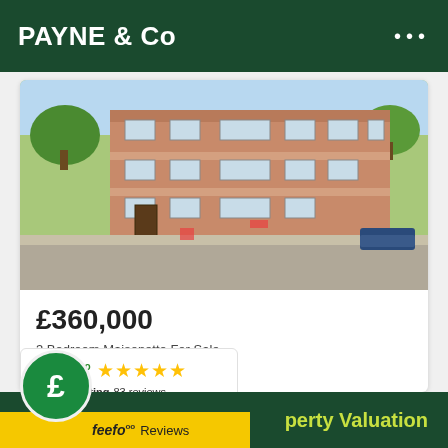PAYNE & Co
[Figure (photo): Exterior photo of a brick residential maisonette building in Plaistow, East London, with a street in the foreground and trees visible]
£360,000
3 Bedroom Maisonette For Sale
Surrey Street, PLAISTOW, E13
[Figure (logo): Feefo service rating badge showing 5 stars and 83 reviews]
feefo Service Rating 83 reviews
Property Valuation
feefo Reviews